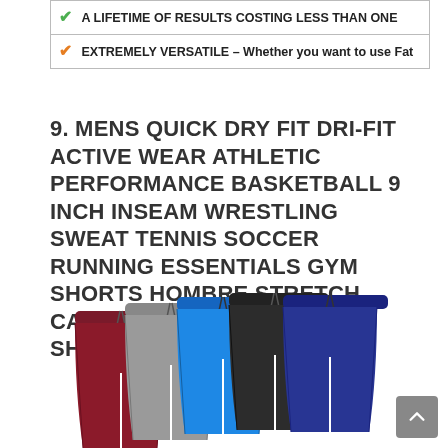| ✓ A LIFETIME OF RESULTS COSTING LESS THAN ONE |
| ✓ EXTREMELY VERSATILE – Whether you want to use Fat |
9. MENS QUICK DRY FIT DRI-FIT ACTIVE WEAR ATHLETIC PERFORMANCE BASKETBALL 9 INCH INSEAM WRESTLING SWEAT TENNIS SOCCER RUNNING ESSENTIALS GYM SHORTS HOMBRE STRETCH CASUAL WORKOUT TECH SHORTS-SET 9
[Figure (photo): Five athletic shorts fanned out showing maroon, grey, bright blue, black, and navy blue colors]